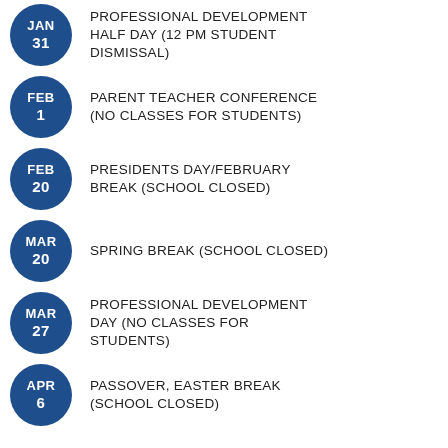JAN 31 - PROFESSIONAL DEVELOPMENT HALF DAY (12 PM STUDENT DISMISSAL)
FEB 1 - PARENT TEACHER CONFERENCE (NO CLASSES FOR STUDENTS)
FEB 20 - PRESIDENTS DAY/FEBRUARY BREAK (SCHOOL CLOSED)
MAR 20 - SPRING BREAK (SCHOOL CLOSED)
MAR 27 - PROFESSIONAL DEVELOPMENT DAY (NO CLASSES FOR STUDENTS)
APR 6 - PASSOVER, EASTER BREAK (SCHOOL CLOSED)